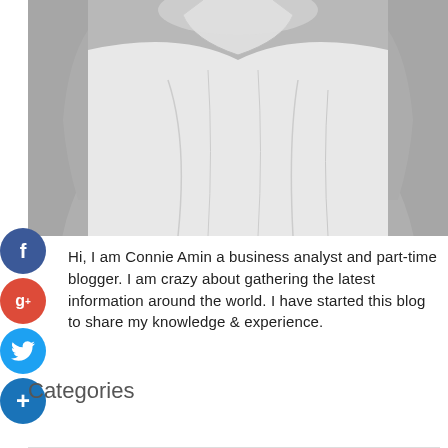[Figure (photo): Black and white photo of a person wearing a white sleeveless collared shirt, cropped to show torso and collar area only]
Hi, I am Connie Amin a business analyst and part-time blogger. I am crazy about gathering the latest information around the world. I have started this blog to share my knowledge & experience.
Categories